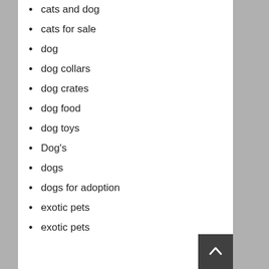cats and dog
cats for sale
dog
dog collars
dog crates
dog food
dog toys
Dog's
dogs
dogs for adoption
exotic pets
exotic pets